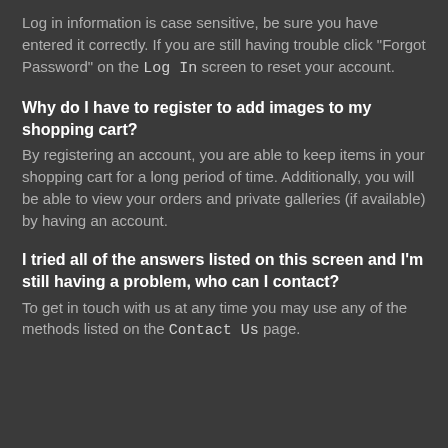Log in information is case sensitive, be sure you have entered it correctly. If you are still having trouble click "Forgot Password" on the Log In screen to reset your account.
Why do I have to register to add images to my shopping cart?
By registering an account, you are able to keep items in your shopping cart for a long period of time. Additionally, you will be able to view your orders and private galleries (if available) by having an account.
I tried all of the answers listed on this screen and I'm still having a problem, who can I contact?
To get in touch with us at any time you may use any of the methods listed on the Contact Us page.